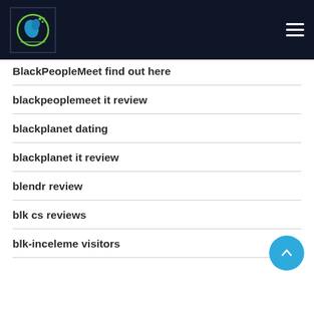[Figure (logo): Website logo with bird/fish graphic in circular green design on dark background]
BlackPeopleMeet find out here
blackpeoplemeet it review
blackplanet dating
blackplanet it review
blendr review
blk cs reviews
blk-inceleme visitors